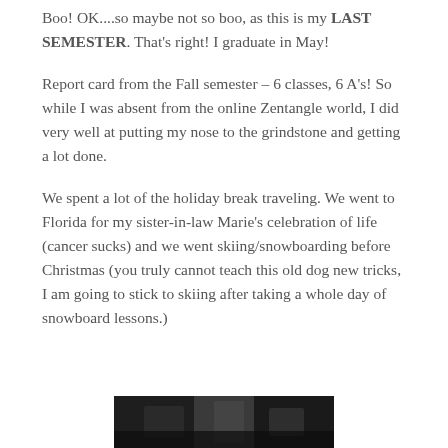Boo! OK....so maybe not so boo, as this is my LAST SEMESTER. That's right! I graduate in May!
Report card from the Fall semester – 6 classes, 6 A's! So while I was absent from the online Zentangle world, I did very well at putting my nose to the grindstone and getting a lot done.
We spent a lot of the holiday break traveling. We went to Florida for my sister-in-law Marie's celebration of life (cancer sucks) and we went skiing/snowboarding before Christmas (you truly cannot teach this old dog new tricks, I am going to stick to skiing after taking a whole day of snowboard lessons.)
[Figure (photo): Dark photo strip visible at bottom of page, appears to show an outdoor winter or nature scene]